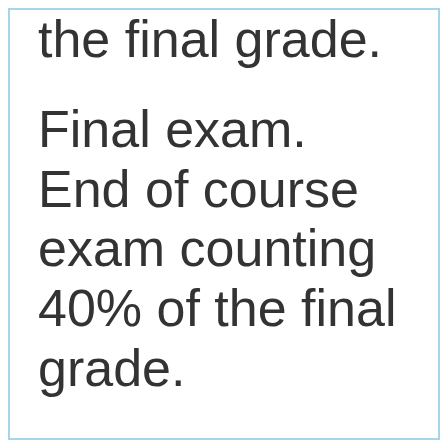the final grade.
Final exam. End of course exam counting 40% of the final grade.
% end-of-term-examination 40